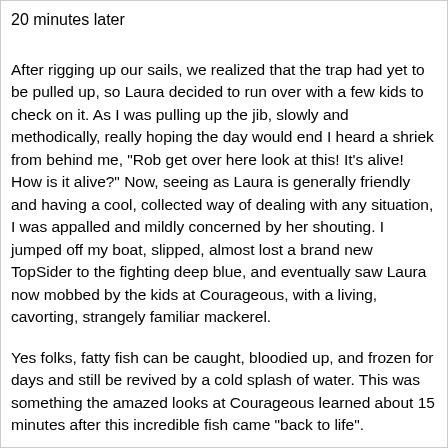20 minutes later
After rigging up our sails, we realized that the trap had yet to be pulled up, so Laura decided to run over with a few kids to check on it. As I was pulling up the jib, slowly and methodically, really hoping the day would end I heard a shriek from behind me, "Rob get over here look at this! It's alive! How is it alive?" Now, seeing as Laura is generally friendly and having a cool, collected way of dealing with any situation, I was appalled and mildly concerned by her shouting. I jumped off my boat, slipped, almost lost a brand new TopSider to the fighting deep blue, and eventually saw Laura now mobbed by the kids at Courageous, with a living, cavorting, strangely familiar mackerel.
Yes folks, fatty fish can be caught, bloodied up, and frozen for days and still be revived by a cold splash of water. This was something the amazed looks at Courageous learned about 15 minutes after this incredible fish came "back to life".